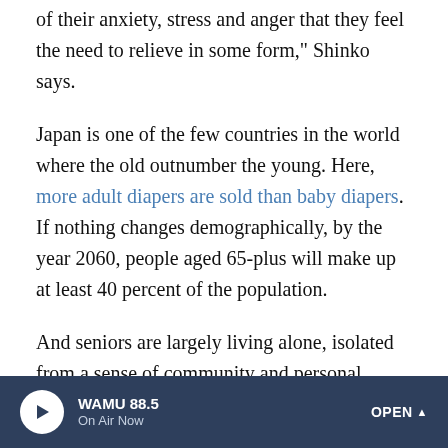of their anxiety, stress and anger that they feel the need to relieve in some form," Shinko says.
Japan is one of the few countries in the world where the old outnumber the young. Here, more adult diapers are sold than baby diapers. If nothing changes demographically, by the year 2060, people aged 65-plus will make up at least 40 percent of the population.
And seniors are largely living alone, isolated from a sense of community and personal worth. While petty crimes make up the majority of those committed by the elderly, the national police statistics show murder and assault are rising.
"Our image of old people is that they slowly wither away.
WAMU 88.5 On Air Now OPEN